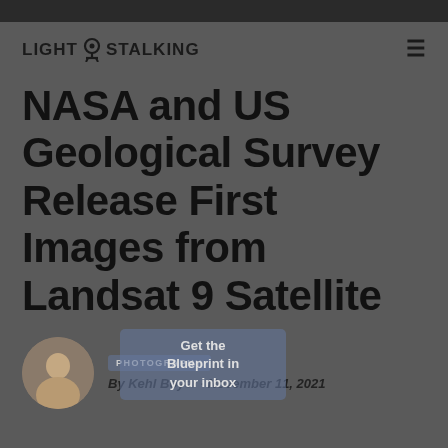LIGHT STALKING
NASA and US Geological Survey Release First Images from Landsat 9 Satellite
By Kehl Boyer · November 11, 2021